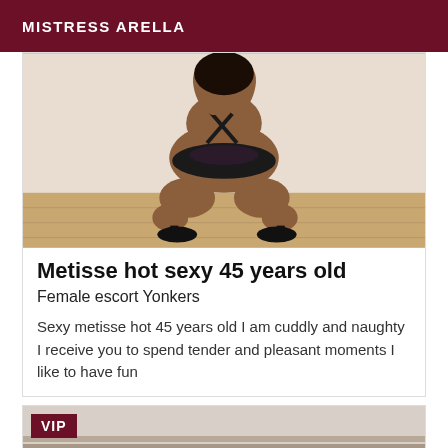MISTRESS ARELLA
[Figure (photo): Woman posing in black lingerie and high heels, crouching pose]
Metisse hot sexy 45 years old
Female escort Yonkers
Sexy metisse hot 45 years old I am cuddly and naughty I receive you to spend tender and pleasant moments I like to have fun
[Figure (photo): VIP card image partial view]